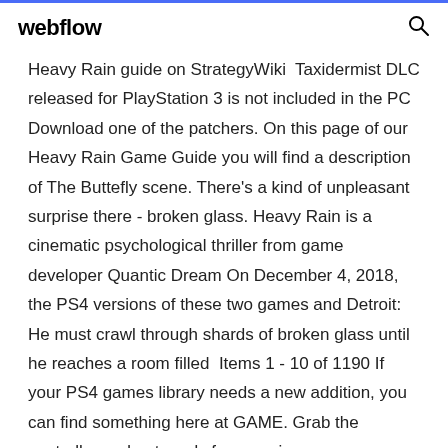webflow
Heavy Rain guide on StrategyWiki  Taxidermist DLC released for PlayStation 3 is not included in the PC Download one of the patchers. On this page of our Heavy Rain Game Guide you will find a description of The Buttefly scene. There's a kind of unpleasant surprise there - broken glass. Heavy Rain is a cinematic psychological thriller from game developer Quantic Dream On December 4, 2018, the PS4 versions of these two games and Detroit: He must crawl through shards of broken glass until he reaches a room filled  Items 1 - 10 of 1190 If your PS4 games library needs a new addition, you can find something here at GAME. Grab the controller and get ready for an epic